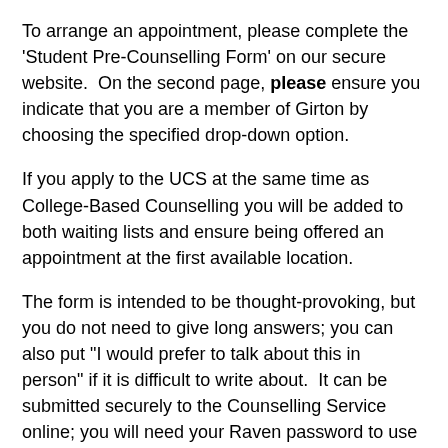To arrange an appointment, please complete the 'Student Pre-Counselling Form' on our secure website. On the second page, please ensure you indicate that you are a member of Girton by choosing the specified drop-down option.
If you apply to the UCS at the same time as College-Based Counselling you will be added to both waiting lists and ensure being offered an appointment at the first available location.
The form is intended to be thought-provoking, but you do not need to give long answers; you can also put "I would prefer to talk about this in person" if it is difficult to write about. It can be submitted securely to the Counselling Service online; you will need your Raven password to use this facility. To access this route, please click on the link below:
Please be aware that the online form requires completion within a 3hr time frame for security, after